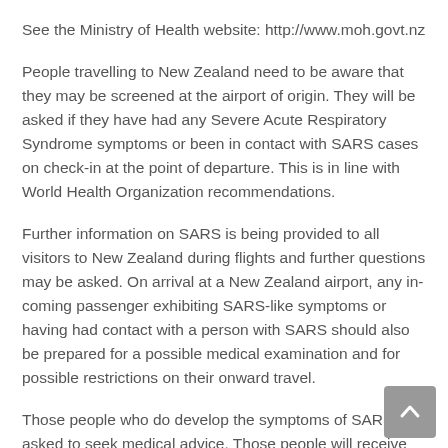See the Ministry of Health website: http://www.moh.govt.nz
People travelling to New Zealand need to be aware that they may be screened at the airport of origin. They will be asked if they have had any Severe Acute Respiratory Syndrome symptoms or been in contact with SARS cases on check-in at the point of departure. This is in line with World Health Organization recommendations.
Further information on SARS is being provided to all visitors to New Zealand during flights and further questions may be asked. On arrival at a New Zealand airport, any in-coming passenger exhibiting SARS-like symptoms or having had contact with a person with SARS should also be prepared for a possible medical examination and for possible restrictions on their onward travel.
Those people who do develop the symptoms of SARS are asked to seek medical advice. Those people will receive